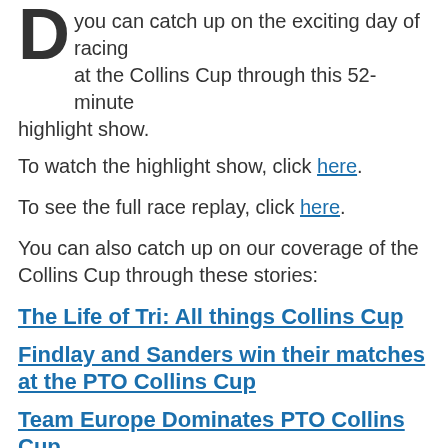D you can catch up on the exciting day of racing at the Collins Cup through this 52-minute highlight show.
To watch the highlight show, click here.
To see the full race replay, click here.
You can also catch up on our coverage of the Collins Cup through these stories:
The Life of Tri: All things Collins Cup
Findlay and Sanders win their matches at the PTO Collins Cup
Team Europe Dominates PTO Collins Cup
Sam Long reaches his breaking point – emotional speech at Collins Cup press conference